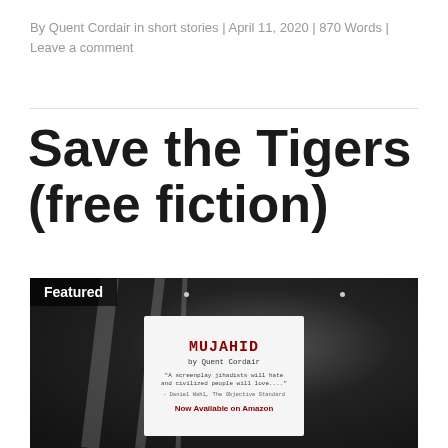By Quent Cordair in short stories | April 11, 2020 | 870 Words | Leave a comment
Save the Tigers (free fiction)
[Figure (photo): Featured image showing a book cover for 'MUJAHID by Quent Cordair' with the tagline 'A screenplay jihadists will hate and civilized people will love....' – Daniel Wahl, The Objective Standard, and 'Now Available on Amazon'. Dark grainy background with the book displayed in a glass case or shelf setting.]